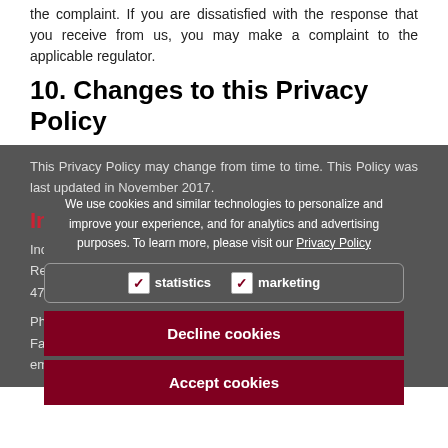the complaint. If you are dissatisfied with the response that you receive from us, you may make a complaint to the applicable regulator.
10. Changes to this Privacy Policy
This Privacy Policy may change from time to time. This Policy was last updated in November 2017.
We use cookies and similar technologies to personalize and improve your experience, and for analytics and advertising purposes. To learn more, please visit our Privacy Policy
statistics   marketing
Decline cookies
Accept cookies
Indici... Motorcycle of Eme...ld
Inc...
Re...
4720
Phone: (07) 4982 4441
Fax: +61 7 4987 6122
email: adrayton@centralbikes.com.au